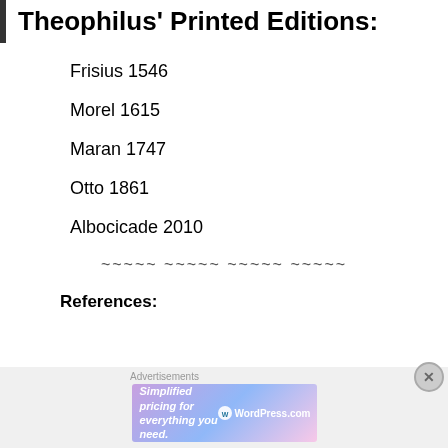Theophilus' Printed Editions:
Frisius 1546
Morel 1615
Maran 1747
Otto 1861
Albocicade 2010
~~~~~ ~~~~~ ~~~~~ ~~~~~
References:
[Figure (other): WordPress.com advertisement banner: 'Simplified pricing for everything you need.' with WordPress.com logo]